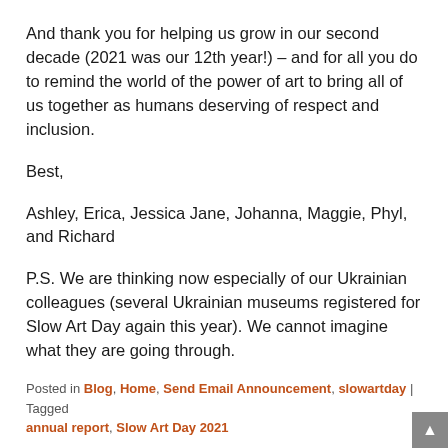And thank you for helping us grow in our second decade (2021 was our 12th year!) – and for all you do to remind the world of the power of art to bring all of us together as humans deserving of respect and inclusion.
Best,
Ashley, Erica, Jessica Jane, Johanna, Maggie, Phyl, and Richard
P.S. We are thinking now especially of our Ukrainian colleagues (several Ukrainian museums registered for Slow Art Day again this year). We cannot imagine what they are going through.
Posted in Blog, Home, Send Email Announcement, slowartday | Tagged annual report, Slow Art Day 2021
Make (and Love) Art not War – Slow Art Day 2022